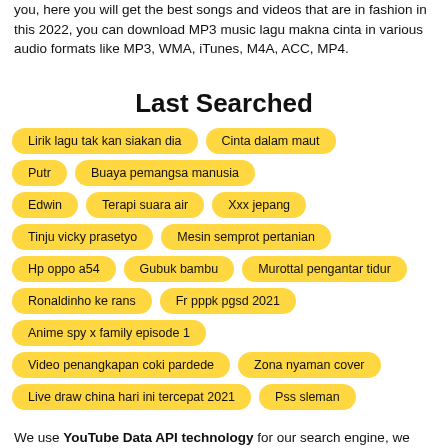you, here you will get the best songs and videos that are in fashion in this 2022, you can download MP3 music lagu makna cinta in various audio formats like MP3, WMA, iTunes, M4A, ACC, MP4.
Last Searched
Lirik lagu tak kan siakan dia
Cinta dalam maut
Putr
Buaya pemangsa manusia
Edwin
Terapi suara air
Xxx jepang
Tinju vicky prasetyo
Mesin semprot pertanian
Hp oppo a54
Gubuk bambu
Murottal pengantar tidur
Ronaldinho ke rans
Fr pppk pgsd 2021
Anime spy x family episode 1
Video penangkapan coki pardede
Zona nyaman cover
Live draw china hari ini tercepat 2021
Pss sleman
We use YouTube Data API technology for our search engine, we